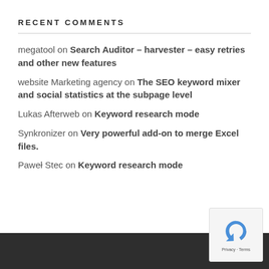RECENT COMMENTS
megatool on Search Auditor – harvester – easy retries and other new features
website Marketing agency on The SEO keyword mixer and social statistics at the subpage level
Lukas Afterweb on Keyword research mode
Synkronizer on Very powerful add-on to merge Excel files.
Paweł Stec on Keyword research mode